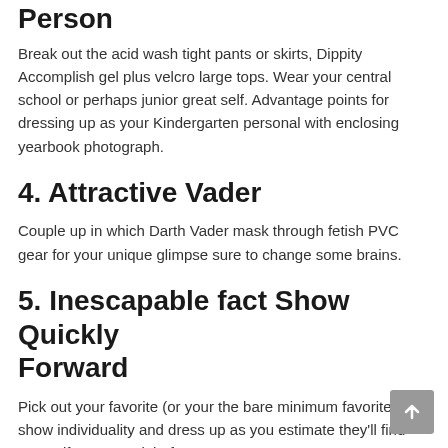Person
Break out the acid wash tight pants or skirts, Dippity Accomplish gel plus velcro large tops. Wear your central school or perhaps junior great self. Advantage points for dressing up as your Kindergarten personal with enclosing yearbook photograph.
4. Attractive Vader
Couple up in which Darth Vader mask through fetish PVC gear for your unique glimpse sure to change some brains.
5. Inescapable fact Show Quickly Forward
Pick out your favorite (or your the bare minimum favorite) fact show individuality and dress up as you estimate they’ll find yourself 20 years right from now.